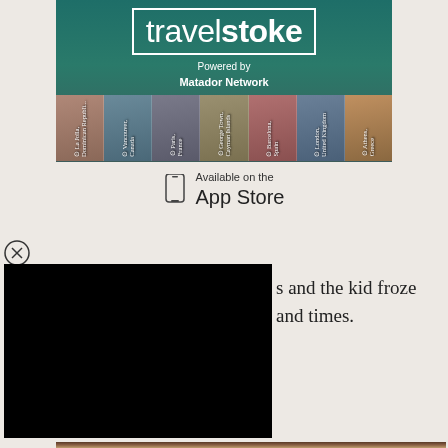[Figure (screenshot): TravelStoke app banner with logo in white bordered box, 'Powered by Matador Network' text, and a strip of travel photos with location labels: La Jolla Dominican Republic, Vancouver Canada, Paris France, George Town Cayman Islands, Barcelona Spain, London United Kingdom, Athens Greece]
[Figure (logo): Available on the App Store badge with phone icon]
[Figure (photo): Black video player rectangle with close (X) button]
s and the kid froze and times.
[Figure (photo): Photo of a young man's face partially visible at bottom of page, against a stone/rock background]